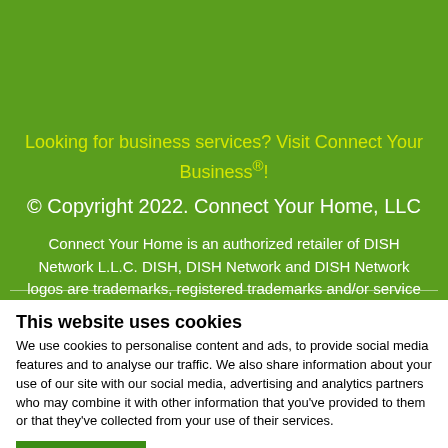Looking for business services? Visit Connect Your Business®!
© Copyright 2022. Connect Your Home, LLC
Connect Your Home is an authorized retailer of DISH Network L.L.C. DISH, DISH Network and DISH Network logos are trademarks, registered trademarks and/or service marks
This website uses cookies
We use cookies to personalise content and ads, to provide social media features and to analyse our traffic. We also share information about your use of our site with our social media, advertising and analytics partners who may combine it with other information that you've provided to them or that they've collected from your use of their services.
OK